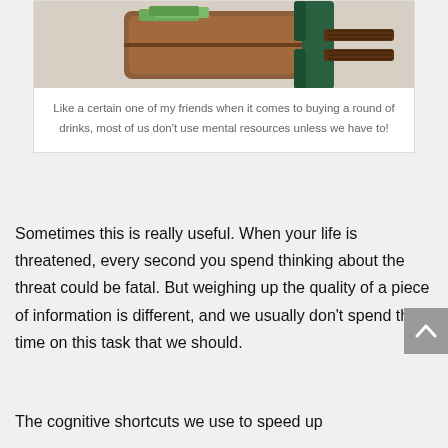[Figure (photo): Photo of a brown leather wallet being squeezed in a metal clamp/vise, partially cropped at top]
Like a certain one of my friends when it comes to buying a round of drinks, most of us don’t use mental resources unless we have to!
Sometimes this is really useful. When your life is threatened, every second you spend thinking about the threat could be fatal. But weighing up the quality of a piece of information is different, and we usually don’t spend the time on this task that we should.
The cognitive shortcuts we use to speed up